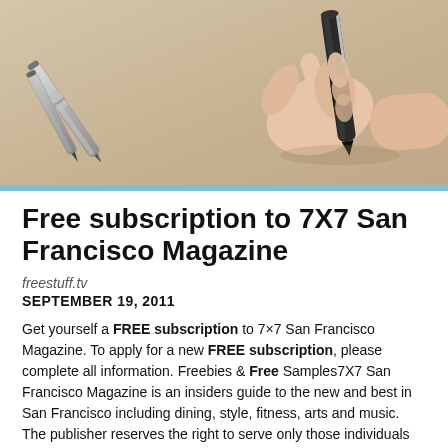[Figure (photo): A hand holding a black marker pen writing on beige/tan paper surface, with two Sharpie markers resting nearby in the upper left.]
Free subscription to 7X7 San Francisco Magazine
freestuff.tv
SEPTEMBER 19, 2011
Get yourself a FREE subscription to 7×7 San Francisco Magazine. To apply for a new FREE subscription, please complete all information. Freebies & Free Samples7X7 San Francisco Magazine is an insiders guide to the new and best in San Francisco including dining, style, fitness, arts and music. The publisher reserves the right to serve only those individuals who meet the publication qualifications.